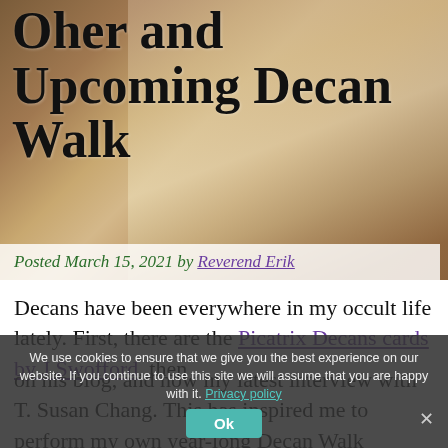[Figure (photo): Hero image showing a painted figure in classical style, muted browns and golds, with a large bold title overlay reading 'Oher and Upcoming Decan Walk' and a byline bar at the bottom.]
Oher and Upcoming Decan Walk
Posted March 15, 2021 by Reverend Erik
Decans have been everywhere in my occult life lately. First, there are the Picatrix Decans cards by J Swofford, then ... on his blog, and now my latest interview with T. Susan Chang. This has inspired me to perform my own year-long Decan Walk
We use cookies to ensure that we give you the best experience on our website. If you continue to use this site we will assume that you are happy with it. Privacy policy